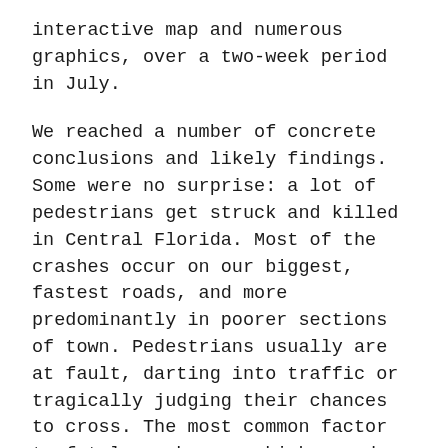interactive map and numerous graphics, over a two-week period in July.
We reached a number of concrete conclusions and likely findings. Some were no surprise: a lot of pedestrians get struck and killed in Central Florida. Most of the crashes occur on our biggest, fastest roads, and more predominantly in poorer sections of town. Pedestrians usually are at fault, darting into traffic or tragically judging their chances to cross. The most common factor to fatal crashes was high speed traffic.
A few were revelations: Despite Orlando’s role as a tourist town, almost none of the crashes